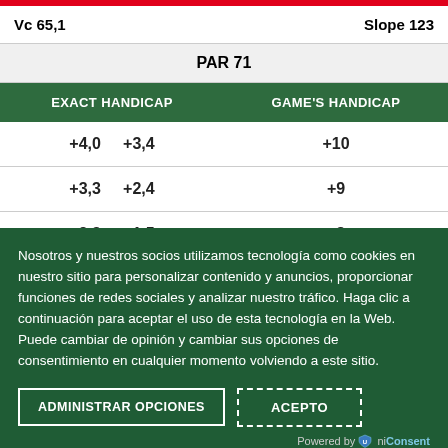| Vc 65,1 |  | Slope 123 | PAR 71 | EXACT HANDICAP |  | GAME'S HANDICAP |
| --- | --- | --- | --- | --- | --- | --- |
| +4,0 | +3,4 | +10 |
| +3,3 | +2,4 | +9 |
| +2,3 | +1,5 | +8 |
Nosotros y nuestros socios utilizamos tecnología como cookies en nuestro sitio para personalizar contenido y anuncios, proporcionar funciones de redes sociales y analizar nuestro tráfico. Haga clic a continuación para aceptar el uso de esta tecnología en la Web. Puede cambiar de opinión y cambiar sus opciones de consentimiento en cualquier momento volviendo a este sitio.
ADMINISTRAR OPCIONES
ACEPTO
Powered by UniConsent